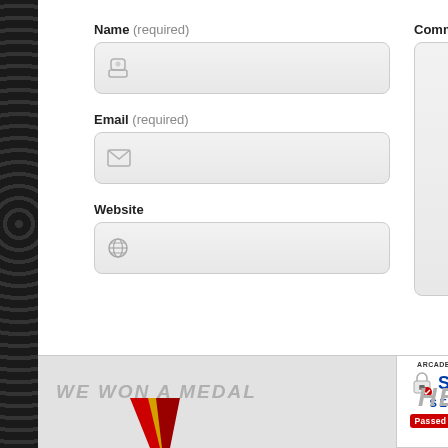Name (required)
[Figure (screenshot): Name input field with person/lock icon]
Email (required)
[Figure (screenshot): Email input field with envelope icon]
Website
[Figure (screenshot): Website input field with globe icon]
Comment
[Figure (screenshot): Comment textarea]
WE WON A MEDAL
[Figure (logo): SiteLock Secure badge - ARCADEHEROES.COM - Passed 19-Aug-2022]
HE
[Figure (logo): Red and gold V-shaped logo mark]